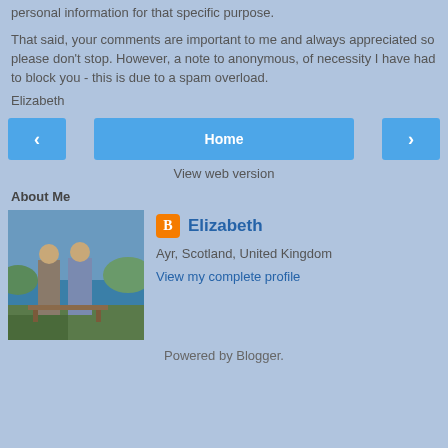personal information for that specific purpose.
That said, your comments are important to me and always appreciated so please don't stop. However, a note to anonymous, of necessity I have had to block you - this is due to a spam overload.
Elizabeth
[Figure (other): Navigation buttons: left arrow button, Home button, right arrow button]
View web version
About Me
[Figure (photo): Profile photo showing two people standing outdoors near water]
Elizabeth
Ayr, Scotland, United Kingdom
View my complete profile
Powered by Blogger.